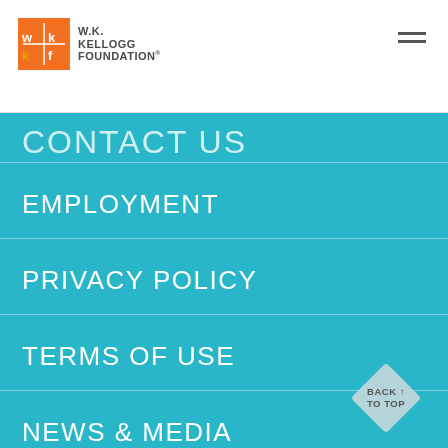[Figure (logo): W.K. Kellogg Foundation logo — orange square with wk/kf letters and text 'W.K. KELLOGG FOUNDATION' beside it]
CONTACT US
EMPLOYMENT
PRIVACY POLICY
TERMS OF USE
NEWS & MEDIA
RESOURCE DIRECTORY
[Figure (other): Diamond-shaped 'BACK TO TOP' button in light grey/silver color]